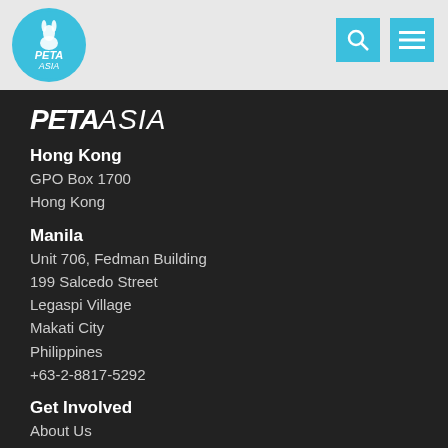[Figure (logo): PETA Asia circular logo in light blue with white PETA Asia text and rabbit icon]
[Figure (logo): PETA Asia text logo in white italic on dark background]
Hong Kong
GPO Box 1700
Hong Kong
Manila
Unit 706, Fedman Building
199 Salcedo Street
Legaspi Village
Makati City
Philippines
+63-2-8817-5292
Get Involved
About Us
Contact PETA Asia